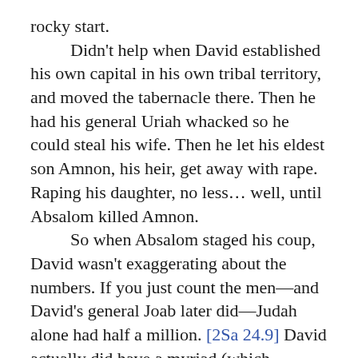rocky start.

Didn't help when David established his own capital in his own tribal territory, and moved the tabernacle there. Then he had his general Uriah whacked so he could steal his wife. Then he let his eldest son Amnon, his heir, get away with rape. Raping his daughter, no less… well, until Absalom killed Amnon.

So when Absalom staged his coup, David wasn't exaggerating about the numbers. If you just count the men—and David's general Joab later did—Judah alone had half a million. [2Sa 24.9] David actually did have a myriad (which literally means ten thousand) opposing him. He might've held the majority's support, but he had a pretty